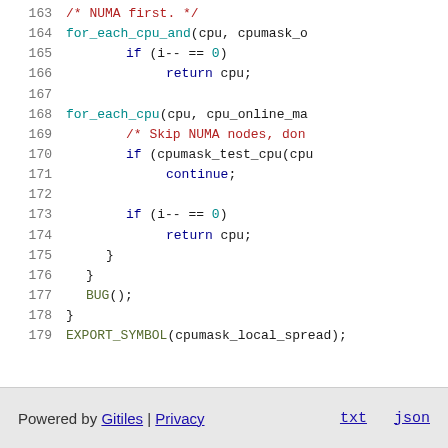[Figure (screenshot): Source code viewer showing lines 163-179 of a Linux kernel C file with syntax highlighting. Lines show NUMA CPU selection logic including for_each_cpu_and, for_each_cpu, cpumask_test_cpu, BUG(), and EXPORT_SYMBOL(cpumask_local_spread) calls.]
Powered by Gitiles | Privacy    txt  json